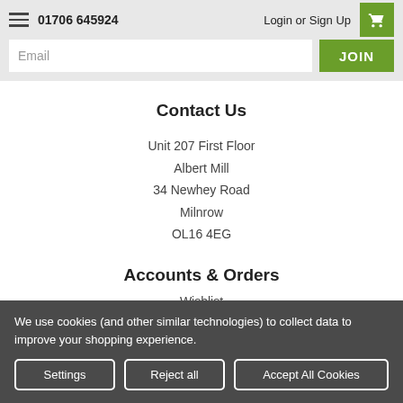01706 645924  Login or Sign Up
Email  JOIN
Contact Us
Unit 207 First Floor
Albert Mill
34 Newhey Road
Milnrow
OL16 4EG
Accounts & Orders
Wishlist
Login or Sign Up
Shipping & Returns
We use cookies (and other similar technologies) to collect data to improve your shopping experience.
Settings  Reject all  Accept All Cookies